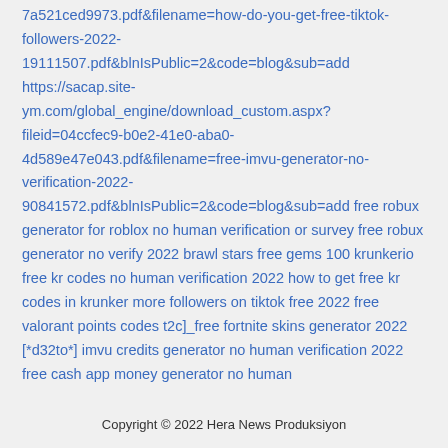7a521ced9973.pdf&filename=how-do-you-get-free-tiktok-followers-2022-19111507.pdf&blnIsPublic=2&code=blog&sub=add https://sacap.site-ym.com/global_engine/download_custom.aspx?fileid=04ccfec9-b0e2-41e0-aba0-4d589e47e043.pdf&filename=free-imvu-generator-no-verification-2022-90841572.pdf&blnIsPublic=2&code=blog&sub=add free robux generator for roblox no human verification or survey free robux generator no verify 2022 brawl stars free gems 100 krunkerio free kr codes no human verification 2022 how to get free kr codes in krunker more followers on tiktok free 2022 free valorant points codes t2c]_free fortnite skins generator 2022 [*d32to*] imvu credits generator no human verification 2022 free cash app money generator no human
Copyright © 2022 Hera News Produksiyon